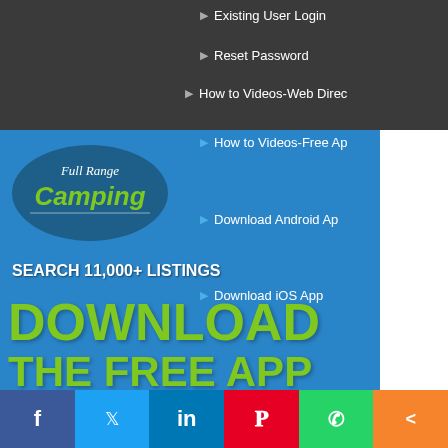Existing User Login
Reset Password
How to Videos-Web Directory
How to Videos-Free App
Download Android App
Download iOS App
[Figure (logo): Full Range Camping logo with stylized green text on circular badge]
SEARCH 11,000+ LISTINGS
DOWNLOAD THE FREE APP
[Figure (screenshot): App Store download button for iOS]
[Figure (screenshot): Google Play download button for Android]
List Your Campground
List Your Caravan Park
List Your Business
List Your House Sit
[Figure (screenshot): Phone mockup showing Full Range Camping app interface with Free Members Area screen]